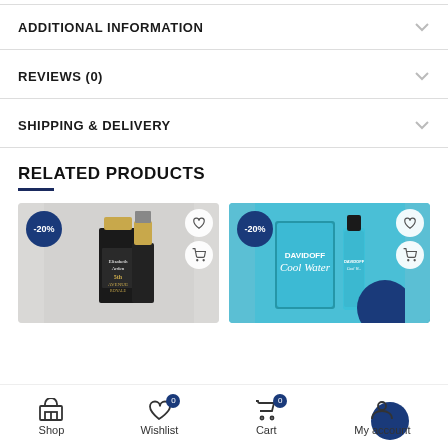ADDITIONAL INFORMATION
REVIEWS (0)
SHIPPING & DELIVERY
RELATED PRODUCTS
[Figure (photo): Elizabeth Arden 5th Avenue Royale perfume bottle with black textured bottle and gold cap, -20% badge, gray background]
[Figure (photo): Davidoff Cool Water perfume set with teal box and two bottles, -20% badge, teal background]